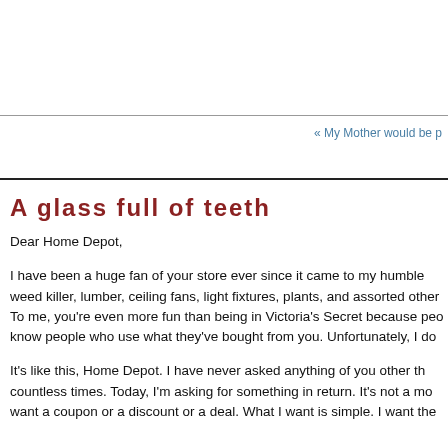« My Mother would be p
A glass full of teeth
Dear Home Depot,
I have been a huge fan of your store ever since it came to my humble weed killer, lumber, ceiling fans, light fixtures, plants, and assorted other To me, you're even more fun than being in Victoria's Secret because peo know people who use what they've bought from you. Unfortunately, I do
It's like this, Home Depot. I have never asked anything of you other th countless times. Today, I'm asking for something in return. It's not a mo want a coupon or a discount or a deal. What I want is simple. I want the